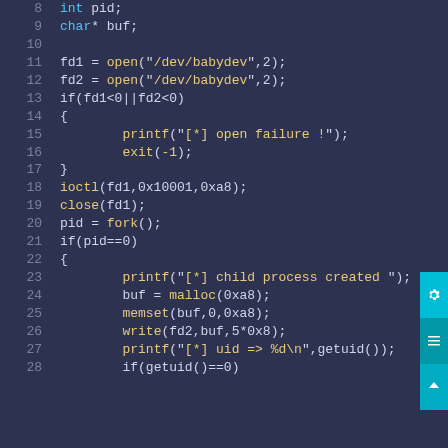[Figure (screenshot): C source code editor showing lines 8-28 of a kernel exploit. Dark theme with line numbers on left. Code includes file descriptor operations, ioctl, fork, printf, malloc, memset, write system calls. Sidebar with settings, list, and up-arrow buttons visible on right.]